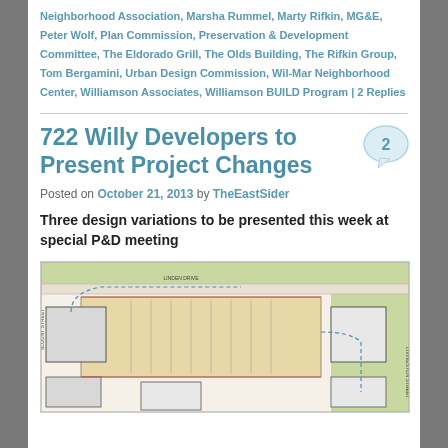Neighborhood Association, Marsha Rummel, Marty Rifkin, MG&E, Peter Wolf, Plan Commission, Preservation & Development Committee, The Eldorado Grill, The Olds Building, The Rifkin Group, Tom Bergamini, Urban Design Commission, Wil-Mar Neighborhood Center, Williamson Associates, Williamson BUILD Program | 2 Replies
722 Willy Developers to Present Project Changes
Posted on October 21, 2013 by TheEastSider
Three design variations to be presented this week at special P&D meeting
[Figure (engineering-diagram): Site plan / architectural layout drawing of the 722 Willy development project showing building footprints, parking areas, surrounding streets including Blount Street and Livingston Street, green spaces, and detailed floor plan overlays.]